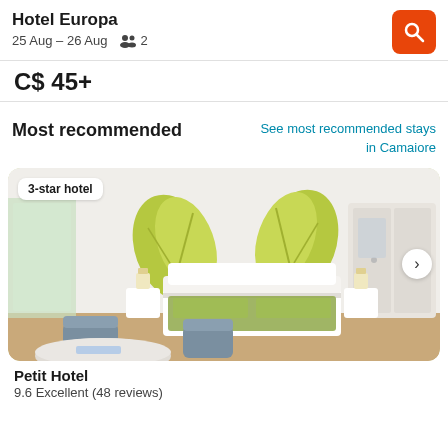Hotel Europa
25 Aug – 26 Aug  👥 2
C$ 45+
Most recommended
See most recommended stays in Camaiore
[Figure (photo): Hotel room photo showing a bright room with green leaf wall art, white bed frame with green bedding, two nightstands with lamps, white wardrobe, and blue chairs. Badge reading '3-star hotel' in top left corner.]
Petit Hotel
9.6 Excellent (48 reviews)